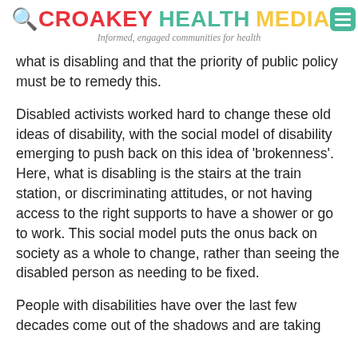CROAKEY HEALTH MEDIA — Informed, engaged communities for health
what is disabling and that the priority of public policy must be to remedy this.
Disabled activists worked hard to change these old ideas of disability, with the social model of disability emerging to push back on this idea of 'brokenness'. Here, what is disabling is the stairs at the train station, or discriminating attitudes, or not having access to the right supports to have a shower or go to work. This social model puts the onus back on society as a whole to change, rather than seeing the disabled person as needing to be fixed.
People with disabilities have over the last few decades come out of the shadows and are taking